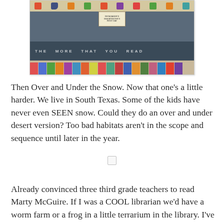[Figure (photo): Photo of a school library shelf with colorful children's books displayed along the bottom, dinosaur cutouts decorating the top border, and a sign on the dark blue back wall reading 'THE MORE THAT YOU READ'.]
Then Over and Under the Snow. Now that one's a little harder. We live in South Texas. Some of the kids have never even SEEN snow. Could they do an over and under desert version? Too bad habitats aren't in the scope and sequence until later in the year.
Already convinced three third grade teachers to read Marty McGuire. If I was a COOL librarian we'd have a worm farm or a frog in a little terrarium in the library. I've been thinking about it for a while but... I just don't think I can do it. UGH.